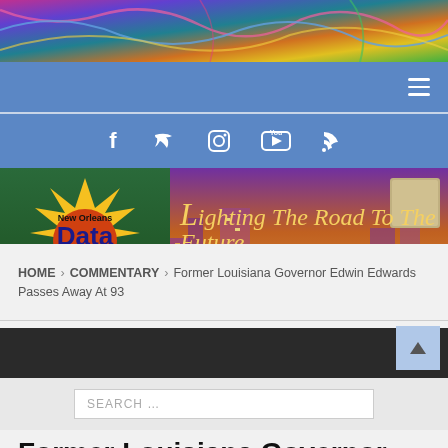[Figure (photo): Abstract colorful banner at the top of the page with blues, pinks, yellows, and greens]
Navigation bar with hamburger menu icon
[Figure (infographic): Social media icons bar: Facebook, Twitter, Instagram, YouTube, RSS feed icons on blue background]
[Figure (logo): New Orleans Data News Weekly logo with tagline 'Lighting The Road To The Future - The People's Paper' on decorative background]
[Figure (screenshot): Dark navigation bar with hamburger menu icon]
[Figure (screenshot): Search bar with placeholder text SEARCH ...]
HOME > COMMENTARY > Former Louisiana Governor Edwin Edwards Passes Away At 93
Former Louisiana Governor Edwin